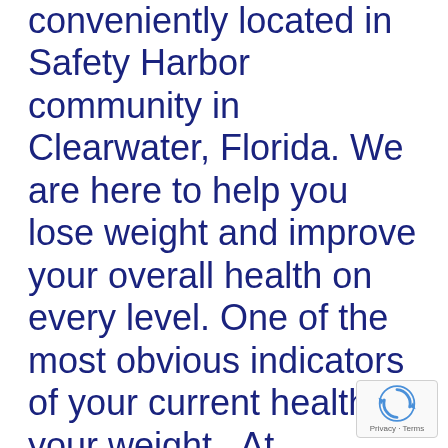conveniently located in Safety Harbor community in Clearwater, Florida. We are here to help you lose weight and improve your overall health on every level. One of the most obvious indicators of your current health is your weight.  At Nutrifit40, our experts will help you lose weight naturally and give you the support you need to take back control of your life, your body, and your happiness.
[Figure (logo): reCAPTCHA badge with spinning arrows logo and Privacy - Terms text]